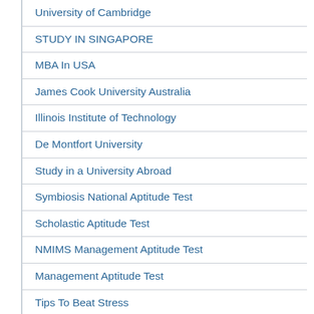University of Cambridge
STUDY IN SINGAPORE
MBA In USA
James Cook University Australia
Illinois Institute of Technology
De Montfort University
Study in a University Abroad
Symbiosis National Aptitude Test
Scholastic Aptitude Test
NMIMS Management Aptitude Test
Management Aptitude Test
Tips To Beat Stress
Education in Ireland
Beauty & Spa Management in UK
Improve Memory Skills